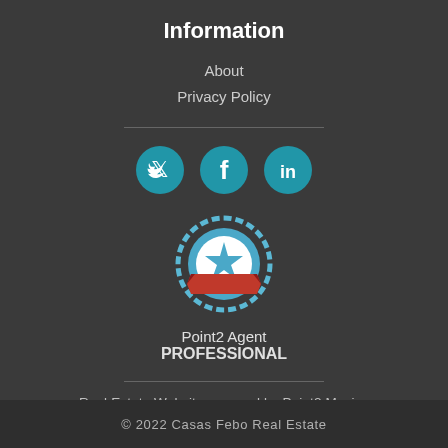Information
About
Privacy Policy
[Figure (illustration): Three circular blue social media icons: Twitter (bird), Facebook (f), LinkedIn (in)]
[Figure (logo): Point2 Agent Professional badge: blue seal with white star and red ribbon banner]
Point2 Agent
PROFESSIONAL
Real Estate Website powered by Point2 Mexico
Point2 Homes Mexico
Sign In
© 2022 Casas Febo Real Estate